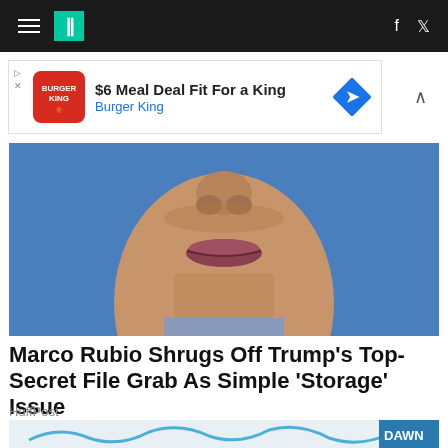HuffPost navigation bar with hamburger menu, logo, Facebook and Twitter icons
[Figure (screenshot): Advertisement: $6 Meal Deal Fit For a King - Burger King ad with Burger King logo and blue diamond navigation icon]
[Figure (photo): Close-up photo of a man's face (nose and mouth) against a blue background, wearing a suit]
Marco Rubio Shrugs Off Trump's Top-Secret File Grab As Simple 'Storage' Issue
HuffPost
[Figure (photo): Photo of a bathtub with blue Dawn dish soap being squeezed, showing Dawn Ultra bottle label]